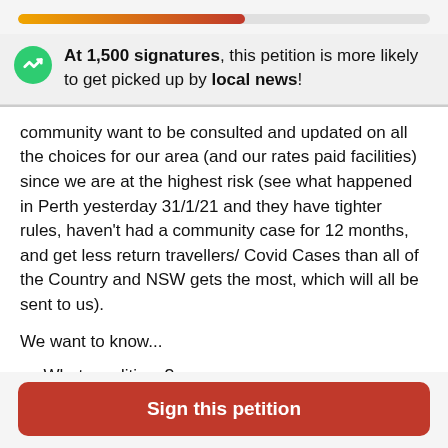[Figure (infographic): Progress bar showing petition signature progress, gradient from orange to red, approximately 55% filled]
At 1,500 signatures, this petition is more likely to get picked up by local news!
community want to be consulted and updated on all the choices for our area (and our rates paid facilities) since we are at the highest risk (see what happened in Perth yesterday 31/1/21 and they have tighter rules, haven't had a community case for 12 months, and get less return travellers/ Covid Cases than all of the Country and NSW gets the most, which will all be sent to us).
We want to know...
What conditions?
Sign this petition